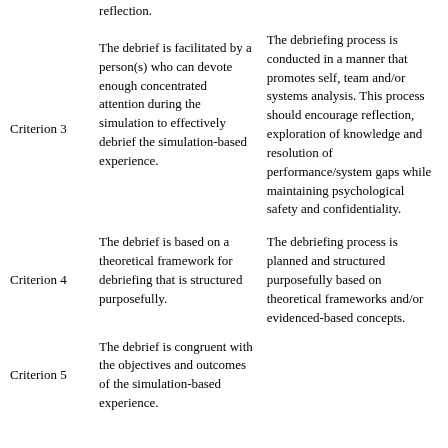|  | Criterion description | Standard description |
| --- | --- | --- |
|  | reflection. |  |
| Criterion 3 | The debrief is facilitated by a person(s) who can devote enough concentrated attention during the simulation to effectively debrief the simulation-based experience. | The debriefing process is conducted in a manner that promotes self, team and/or systems analysis. This process should encourage reflection, exploration of knowledge and resolution of performance/system gaps while maintaining psychological safety and confidentiality. |
| Criterion 4 | The debrief is based on a theoretical framework for debriefing that is structured purposefully. | The debriefing process is planned and structured purposefully based on theoretical frameworks and/or evidenced-based concepts. |
| Criterion 5 | The debrief is congruent with the objectives and outcomes of the simulation-based experience. |  |